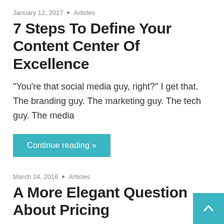January 12, 2017 • Articles
7 Steps To Define Your Content Center Of Excellence
“You’re that social media guy, right?” I get that. The branding guy. The marketing guy. The tech guy. The media
Continue reading »
March 24, 2016 • Articles
A More Elegant Question About Pricing
What’s this thing worth? Pricing has always been a fascinating area of interest. While many are quick to